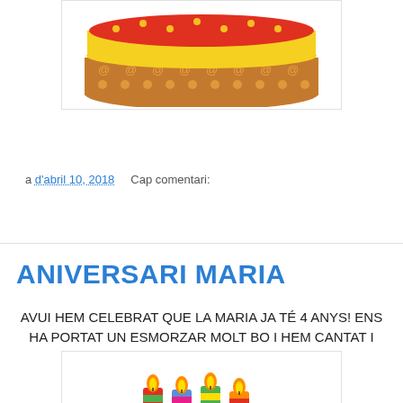[Figure (illustration): Bottom portion of a birthday cake illustration with brown/red decorative layers and dots, shown in a white bordered box]
a d'abril 10, 2018   Cap comentari:
Comparteix
ANIVERSARI MARIA
AVUI HEM CELEBRAT QUE LA MARIA JA TÉ 4 ANYS! ENS HA PORTAT UN ESMORZAR MOLT BO I HEM CANTAT I BALLAT.
MIREU QUE BÉ HO HEM PASSAT!
[Figure (illustration): Four colorful birthday candles with flames, in red, blue, green, and yellow striped patterns, shown in a white bordered box]